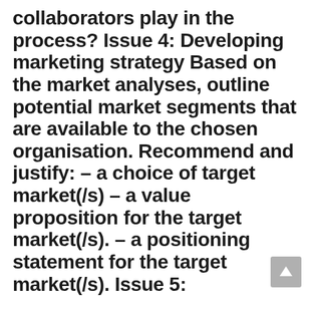collaborators play in the process? Issue 4: Developing marketing strategy Based on the market analyses, outline potential market segments that are available to the chosen organisation. Recommend and justify: – a choice of target market(/s) – a value proposition for the target market(/s). – a positioning statement for the target market(/s). Issue 5: